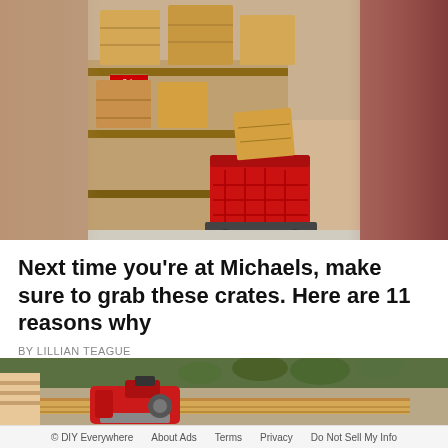[Figure (photo): Photo of wooden crates on store shelves at Michaels craft store, with a red shopping basket/cart in the aisle containing a large wooden crate. A sale sign reading '$9' is visible on the shelf. The sides of the image have a blurred/vignette effect.]
Next time you're at Michaels, make sure to grab these crates. Here are 11 reasons why
BY LILLIAN TEAGUE
[Figure (photo): Photo of a person using a red power tool (drill or sander) on wooden planks outdoors, with green plants/succulents visible in the background. The person is wearing a striped shirt and has dark nail polish.]
© DIY Everywhere   About Ads   Terms   Privacy   Do Not Sell My Info